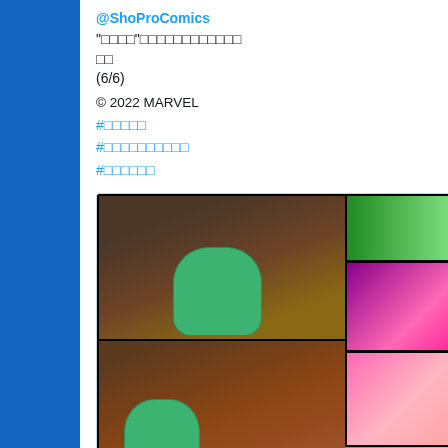@ShoProComics
"□□□□"□□□□□□□□□□□□
□□
(6/6)
© 2022 MARVEL
#□□□□□
#□□□□□□□□□□
#□□□□□□
[Figure (screenshot): Comic book pages showing She-Hulk and other characters in multiple panels]
1  29
Tom Brevoort Retweeted
ShoPro B...  @S...  15h